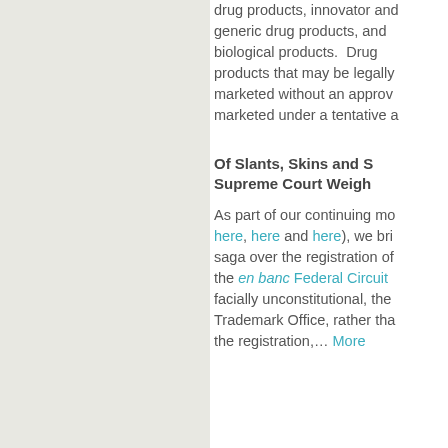drug products, innovator and generic drug products, and biological products.  Drug products that may be legally marketed without an approv... marketed under a tentative ...
Of Slants, Skins and S... Supreme Court Weigh...
As part of our continuing mo... here, here and here), we bri... saga over the registration of... the en banc Federal Circuit ... facially unconstitutional, the... Trademark Office, rather tha... the registration,… More